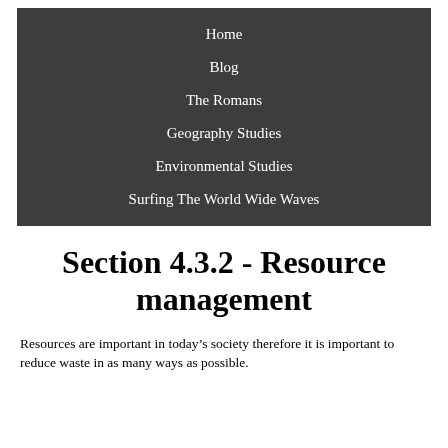Home
Blog
The Romans
Geography Studies
Environmental Studies
Surfing The World Wide Waves
Section 4.3.2 - Resource management
Resources are important in today’s society therefore it is important to reduce waste in as many ways as possible.